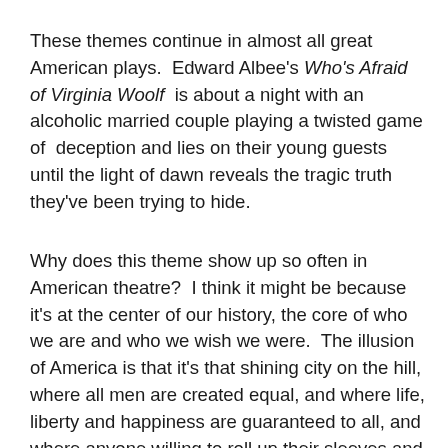These themes continue in almost all great American plays.  Edward Albee's Who's Afraid of Virginia Woolf  is about a night with an alcoholic married couple playing a twisted game of  deception and lies on their young guests until the light of dawn reveals the tragic truth they've been trying to hide.
Why does this theme show up so often in American theatre?  I think it might be because it's at the center of our history, the core of who we are and who we wish we were.  The illusion of America is that it's that shining city on the hill, where all men are created equal, and where life, liberty and happiness are guaranteed to all, and where anyone willing to roll up their sleeves and work hard can make it.  These illusions cover up an uglier truth of our side, a deeper notion that has given the...